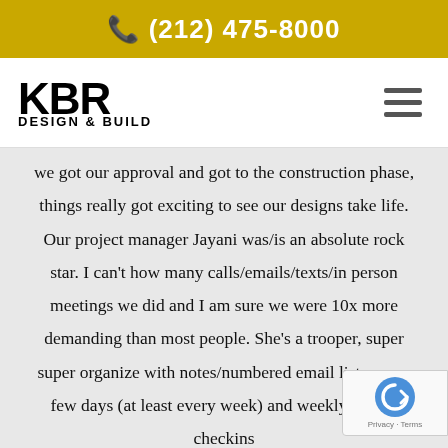(212) 475-8000
[Figure (logo): KBR Design & Build logo with hamburger menu icon]
we got our approval and got to the construction phase, things really got exciting to see our designs take life. Our project manager Jayani was/is an absolute rock star. I can't how many calls/emails/texts/in person meetings we did and I am sure we were 10x more demanding than most people. She's a trooper, super super organize with notes/numbered email lists every few days (at least every week) and weekly Friday checkins